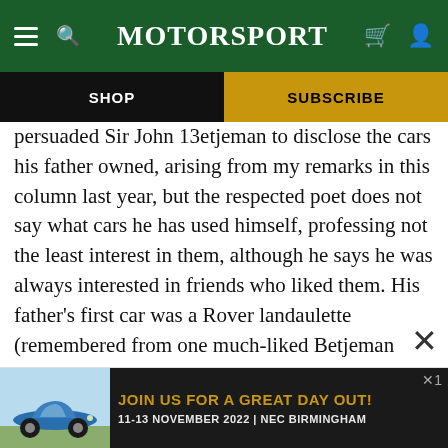MotorSport
SHOP   SUBSCRIBE
persuaded Sir John 13etjeman to disclose the cars his father owned, arising from my remarks in this column last year, but the respected poet does not say what cars he has used himself, professing not the least interest in them, although he says he was always interested in friends who liked them. His father's first car was a Rover landaulette (remembered from one much-liked Betjeman poem) which, he remembers, would only just get up West Hill in Highgate, where the family then lived. But it took  ×1 to his g
[Figure (infographic): Advertisement banner: classic blue Porsche 911 car image on left, dark background with yellow text 'JOIN US FOR A GREAT DAY OUT!' and white text '11-13 NOVEMBER 2022 | NEC BIRMINGHAM']